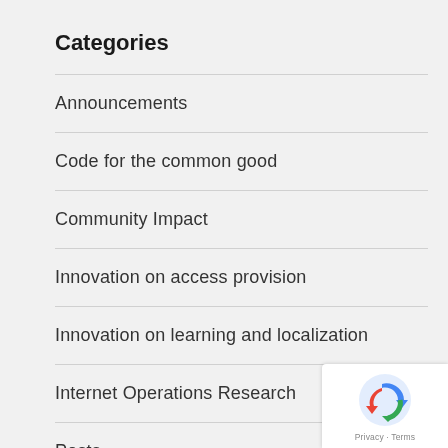Categories
Announcements
Code for the common good
Community Impact
Innovation on access provision
Innovation on learning and localization
Internet Operations Research
Posts
Rights